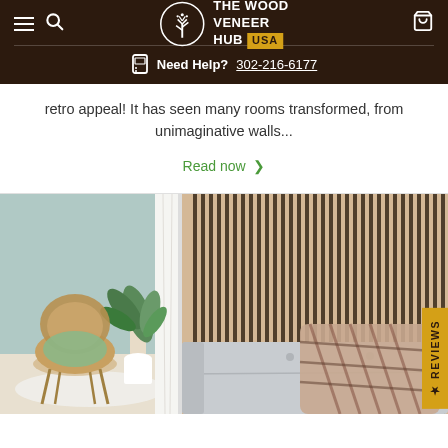[Figure (logo): The Wood Veneer Hub USA logo with tree icon in circle, white text on dark brown background]
Need Help? 302-216-6177
retro appeal! It has seen many rooms transformed, from unimaginative walls...
Read now >
[Figure (photo): Interior room photo showing a modern living space with wood slat acoustic panel wall on right side, a grey sofa with plaid blanket, and a separate seating area with a wicker chair and tropical plant on the left]